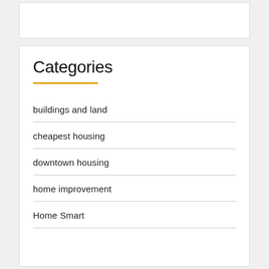Categories
buildings and land
cheapest housing
downtown housing
home improvement
Home Smart